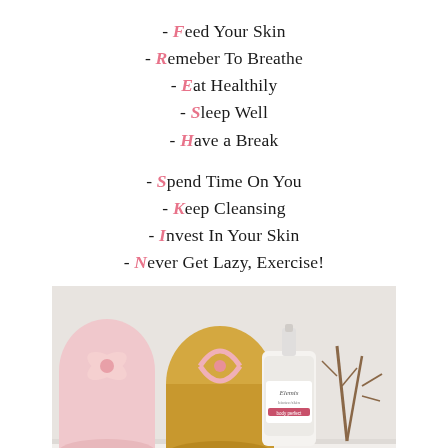- Feed Your Skin
- Remeber To Breathe
- Eat Healthily
- Sleep Well
- Have a Break
- Spend Time On You
- Keep Cleansing
- Invest In Your Skin
- Never Get Lazy, Exercise!
[Figure (photo): Elemis Biotec body perfect skincare product bottle on a white surface with pink decorative items and dried flowers in the background]